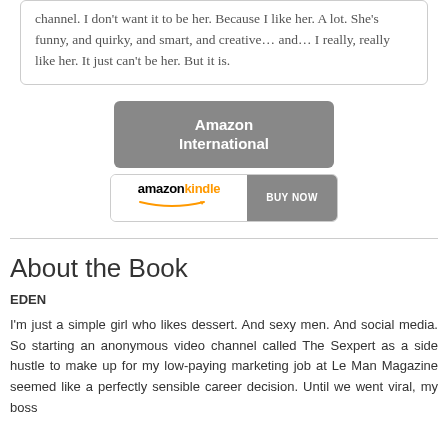channel. I don't want it to be her. Because I like her. A lot. She's funny, and quirky, and smart, and creative… and… I really, really like her. It just can't be her. But it is.
[Figure (other): Amazon International button (grey rounded rectangle) with Amazon Kindle BUY NOW button below it]
About the Book
EDEN
I'm just a simple girl who likes dessert. And sexy men. And social media. So starting an anonymous video channel called The Sexpert as a side hustle to make up for my low-paying marketing job at Le Man Magazine seemed like a perfectly sensible career decision. Until we went viral, my boss